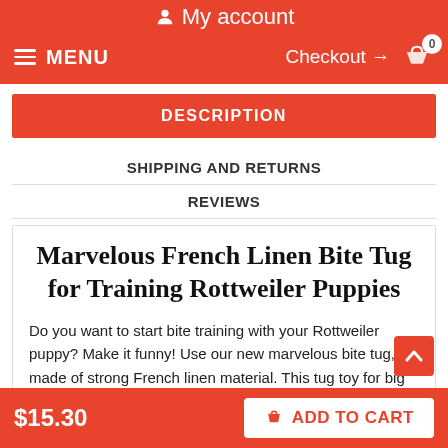My account
MENU  Checkout → 0
DESCRIPTION
SHIPPING AND RETURNS
REVIEWS
Marvelous French Linen Bite Tug for Training Rottweiler Puppies
Do you want to start bite training with your Rottweiler puppy? Make it funny! Use our new marvelous bite tug, made of strong French linen material. This tug toy for big dogs helps your dog to develop good skills in bite training. It’s not harmful for the dog
$15.30  ADD TO CART